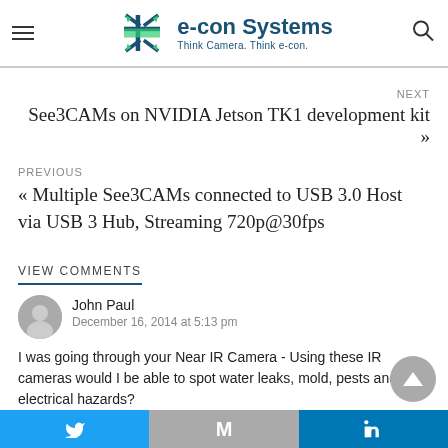[Figure (logo): e-con Systems logo with snowflake/cross icon and tagline 'Think Camera. Think e-con.']
NEXT
See3CAMs on NVIDIA Jetson TK1 development kit »
PREVIOUS
« Multiple See3CAMs connected to USB 3.0 Host via USB 3 Hub, Streaming 720p@30fps
VIEW COMMENTS
John Paul
December 16, 2014 at 5:13 pm
I was going through your Near IR Camera - Using these IR cameras would I be able to spot water leaks, mold, pests and electrical hazards?